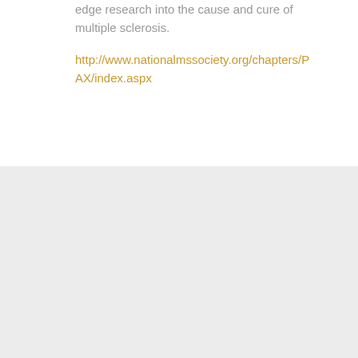edge research into the cause and cure of multiple sclerosis.
http://www.nationalmssociety.org/chapters/PAX/index.aspx
← PREV: WORKING THE PROBLEM: THE IMPACT OF COVID
NEXT: THE GOAL OF INVESTING →